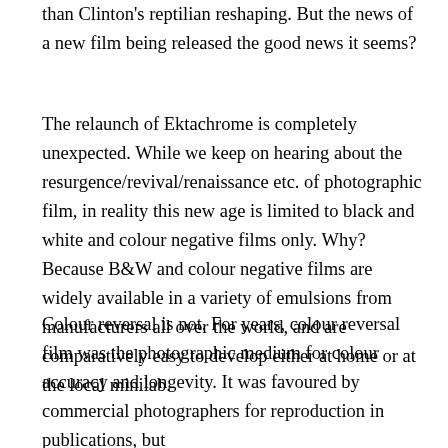than Clinton's reptilian reshaping. But the news of a new film being released the good news it seems?
The relaunch of Ektachrome is completely unexpected. While we keep on hearing about the resurgence/revival/renaissance etc. of photographic film, in reality this new age is limited to black and white and colour negative films only. Why? Because B&W and colour negative films are widely available in a variety of emulsions from manufacturers all over the world, and are comparatively easy to develop either at home or at the local minilab.
Colour reversal is not. For years, colour reversal film was the photographic medium for colour accuracy and longevity. It was favoured by commercial photographers for reproduction in publications, but offered advantages for the consumer for the